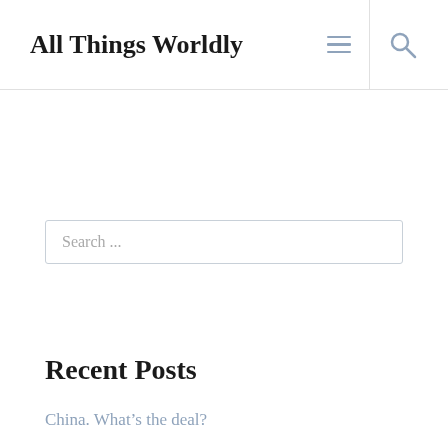All Things Worldly
Search ...
Recent Posts
China. What's the deal?
Elections